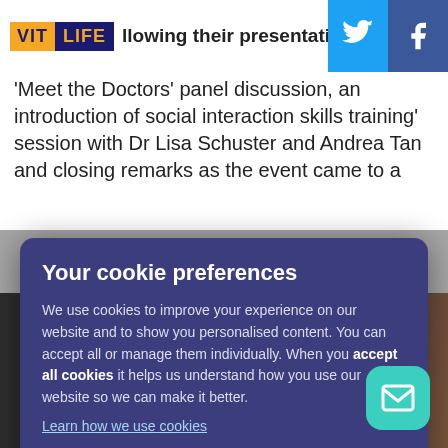VIT LIFE
'Meet the Doctors' panel discussion, an introduction of social interaction skills training' session with Dr Lisa Schuster and Andrea Tan and closing remarks as the event came to a
Your cookie preferences

We use cookies to improve your experience on our website and to show you personalised content. You can accept all or manage them individually. When you accept all cookies it helps us understand how you use our website so we can make it better.

Learn how we use cookies

Manage cookies | Accept all cookies
[Figure (photo): Photograph of a building exterior with glass doors and brick wall, partially visible at the bottom of the page.]